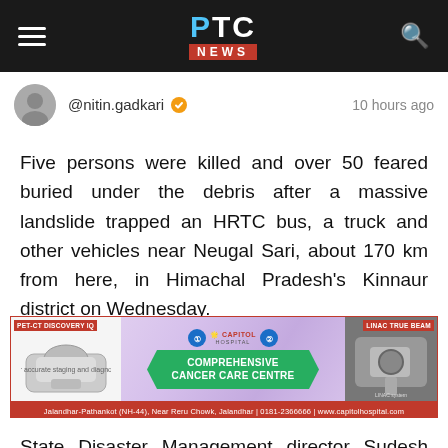PTC NEWS
@nitin.gadkari  10 hours ago
Five persons were killed and over 50 feared buried under the debris after a massive landslide trapped an HRTC bus, a truck and other vehicles near Neugal Sari, about 170 km from here, in Himachal Pradesh's Kinnaur district on Wednesday.
[Figure (photo): Capitol Hospital advertisement banner: Comprehensive Cancer Care Centre, Jalandhar-Pathankot (NH-44), Near Reru Chowk, Jalandhar | 0181-2366666 | www.capitolhospital.com]
State Disaster Management director Sudesh Kumar Mokhta said at least 10 persons were pulled out of the rubble in an